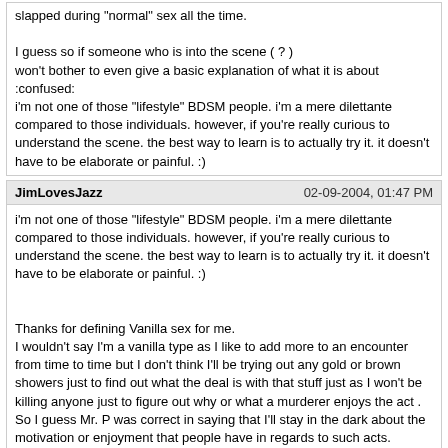slapped during "normal" sex all the time.

I guess so if someone who is into the scene ( ? ) won&#039;t bother to even give a basic explanation of what it is about :confused:
i&#039;m not one of those "lifestyle" BDSM people. i&#039;m a mere dilettante compared to those individuals. however, if you&#039;re really curious to understand the scene. the best way to learn is to actually try it. it doesn&#039;t have to be elaborate or painful. :)
JimLovesJazz
02-09-2004, 01:47 PM
i&#039;m not one of those "lifestyle" BDSM people. i&#039;m a mere dilettante compared to those individuals. however, if you&#039;re really curious to understand the scene. the best way to learn is to actually try it. it doesn&#039;t have to be elaborate or painful. :)


Thanks for defining Vanilla sex for me.
I wouldn&#039;t say I&#039;m a vanilla type as I like to add more to an encounter from time to time but I don&#039;t think I&#039;ll be trying out any gold or brown showers just to find out what the deal is with that stuff just as I won&#039;t be killing anyone just to figure out why or what a murderer enjoys the act .
So I guess Mr. P was correct in saying that I&#039;ll stay in the dark about the motivation or enjoyment that people have in regards to such acts.
I hate to just guess about things I&#039;m not informed on but since the one person here who seems to have some experience in such matters wont elaborate I&#039;m stuck with guessing :thinking:
milonguero
06-10-2004, 11:19 PM
Funny, I was doing some major shopping on http://www.adultdvdtalk.com a while ago. Had to rule out 90% of the offerings straight off as I am in